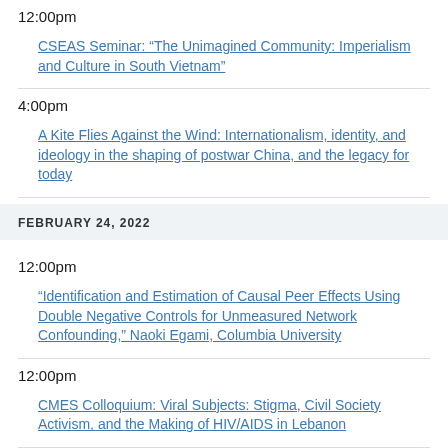12:00pm
CSEAS Seminar: “The Unimagined Community: Imperialism and Culture in South Vietnam”
4:00pm
A Kite Flies Against the Wind: Internationalism, identity, and ideology in the shaping of postwar China, and the legacy for today
FEBRUARY 24, 2022
12:00pm
“Identification and Estimation of Causal Peer Effects Using Double Negative Controls for Unmeasured Network Confounding,” Naoki Egami, Columbia University
12:00pm
CMES Colloquium: Viral Subjects: Stigma, Civil Society Activism, and the Making of HIV/AIDS in Lebanon
12:00pm